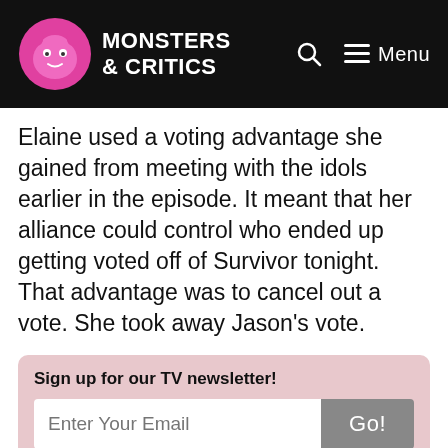MONSTERS & CRITICS
Elaine used a voting advantage she gained from meeting with the idols earlier in the episode. It meant that her alliance could control who ended up getting voted off of Survivor tonight. That advantage was to cancel out a vote. She took away Jason’s vote.
Sign up for our TV newsletter!
When host Jeff Probst read the votes, two things happened. First, it became obvious that Elaine had established herself as someone on the